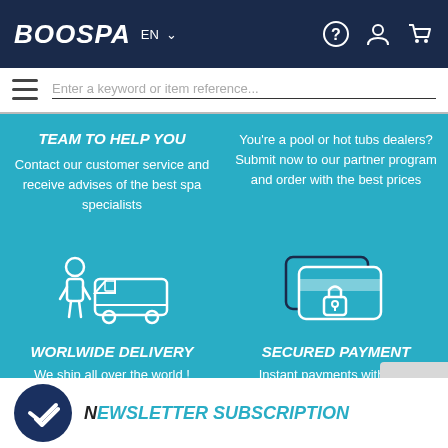BOOSPA EN
Enter a keyword or item reference...
TEAM TO HELP YOU
Contact our customer service and receive advises of the best spa specialists
You're a pool or hot tubs dealers? Submit now to our partner program and order with the best prices
[Figure (illustration): Icon of a person standing next to a delivery van]
[Figure (illustration): Icon of a secured credit card with padlock]
WORLWIDE DELIVERY
We ship all over the world !
SECURED PAYMENT
Instant payments with your preferred method of payment (CB, Paypal, transfer, etc...)
NEWSLETTER SUBSCRIPTION